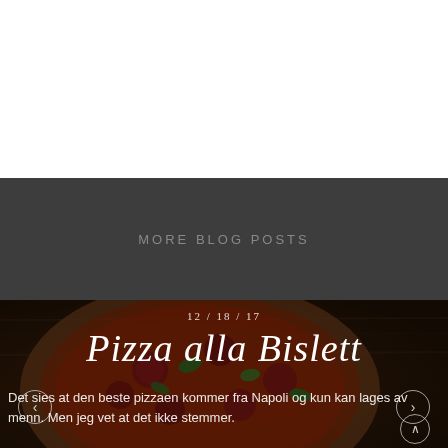[Figure (photo): White blank top section of a webpage]
MORE BLOG POSTS
[Figure (photo): Dark background pizza photo with salami and basil leaves on wooden board, partially visible]
12 / 18 / 17
Pizza alla Bislett
Det sies at den beste pizzaen kommer fra Napoli og kun kan lages av menn. Men jeg vet at det ikke stemmer.